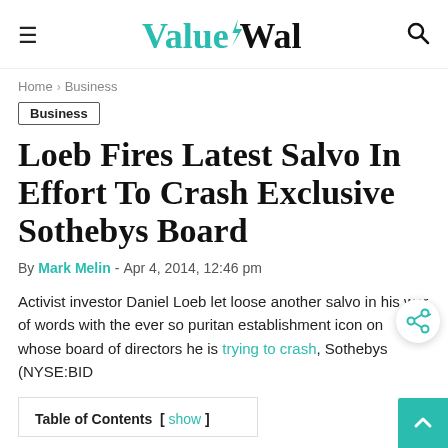ValueWalk
Home › Business
Business
Loeb Fires Latest Salvo In Effort To Crash Exclusive Sothebys Board
By Mark Melin - Apr 4, 2014, 12:46 pm
Activist investor Daniel Loeb let loose another salvo in his war of words with the ever so puritan establishment icon on whose board of directors he is trying to crash, Sothebys (NYSE:BID
Table of Contents [ show ]